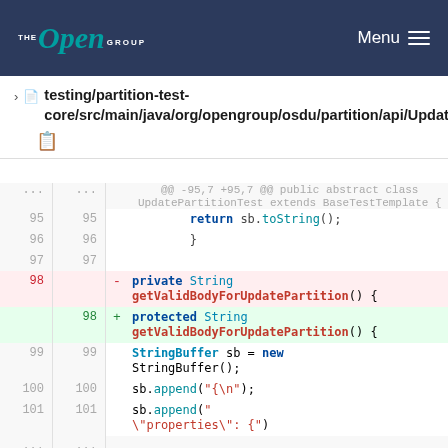THE Open GROUP  Menu
testing/partition-test-core/src/main/java/org/opengroup/osdu/partition/api/UpdatePartitionTest.java
[Figure (screenshot): Git diff view showing code changes in UpdatePartitionTest.java. Lines 95-101 shown. Line 98 removed: 'private String getValidBodyForUpdatePartition() {'. Line 98 added: 'protected String getValidBodyForUpdatePartition() {'. Context lines show return sb.toString(); closing brace, empty line, and StringBuffer sb = new StringBuffer(); sb.append("{\n"); sb.append("\"properties\": {")]